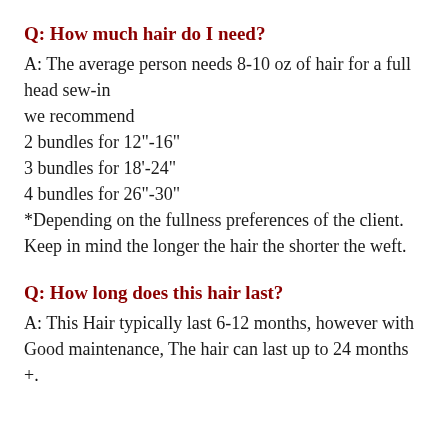Q: How much hair do I need?
A: The average person needs 8-10 oz of hair for a full head sew-in
we recommend
2 bundles for 12"-16"
3 bundles for 18'-24"
4 bundles for 26"-30"
*Depending on the fullness preferences of the client. Keep in mind the longer the hair the shorter the weft.
Q: How long does this hair last?
A: This Hair typically last 6-12 months, however with Good maintenance, The hair can last up to 24 months +.